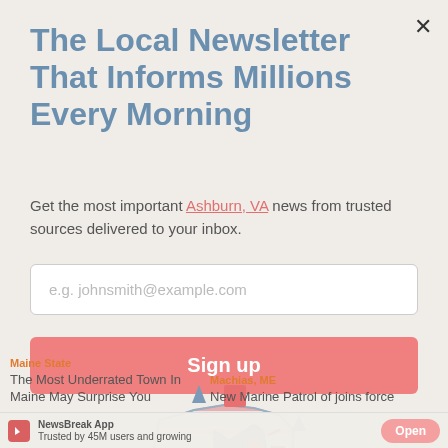The Local Newsletter That Informs Millions Every Morning
Get the most important Ashburn, VA news from trusted sources delivered to your inbox.
e.g. johnsmith@example.com
Sign up
[Figure (illustration): NewsBreak logo illustration showing a stylized USA map with a megaphone/bullhorn icon, surrounded by exclamation marks and geometric shapes in red, salmon, and steel blue colors]
Maine State
The Most Underrated Town In Maine May Surprise You
Machias, ME
New Marine Patrol of joins force
NewsBreak App
Trusted by 45M users and growing